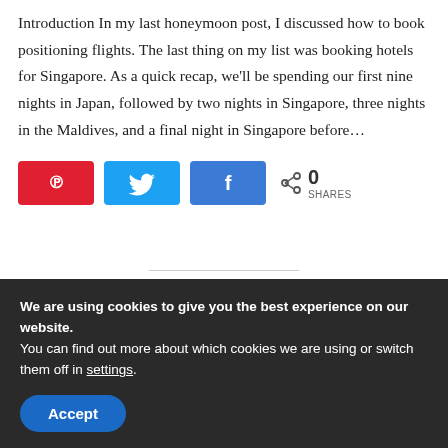Introduction In my last honeymoon post, I discussed how to book positioning flights. The last thing on my list was booking hotels for Singapore. As a quick recap, we'll be spending our first nine nights in Japan, followed by two nights in Singapore, three nights in the Maldives, and a final night in Singapore before…
[Figure (infographic): Social sharing buttons: Pinterest (red), Twitter (blue bird), Facebook (blue f), share icon with count 0 SHARES]
READ MORE
We are using cookies to give you the best experience on our website.
You can find out more about which cookies we are using or switch them off in settings.
Accept